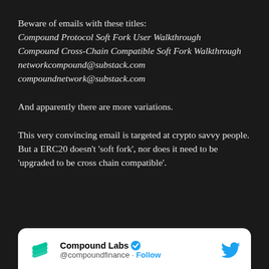Beware of emails with these titles:
Compound Protocol Soft Fork User Walkthrough
Compound Cross-Chain Compatible Soft Fork Walkthrough
networkcompound@substack.com
compoundnetwork@substack.com
And apparently there are more variations.
This very convincing email is targeted at crypto savvy people. But a ERC20 doesn’t ‘soft fork’, nor does it need to be ‘upgraded to be cross chain compatible’.
[Figure (screenshot): Twitter/X card showing Compound Labs account (@compoundfinance) with green stacked-layers logo, verified blue checkmark badge, and Follow button, on white background with rounded corners.]